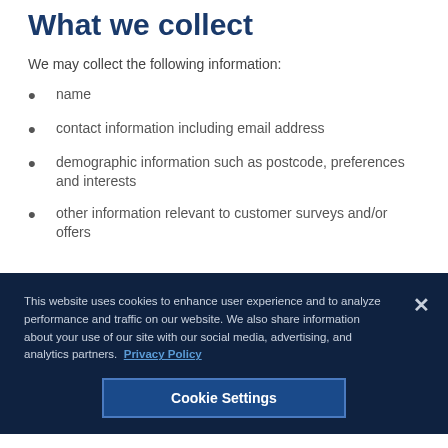What we collect
We may collect the following information:
name
contact information including email address
demographic information such as postcode, preferences and interests
other information relevant to customer surveys and/or offers
This website uses cookies to enhance user experience and to analyze performance and traffic on our website. We also share information about your use of our site with our social media, advertising, and analytics partners. Privacy Policy
Cookie Settings